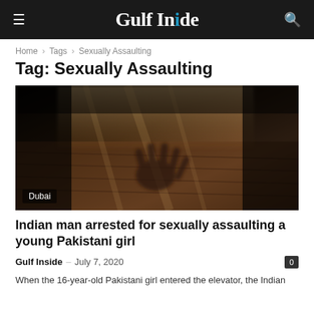Gulf Inside
Home › Tags › Sexually Assaulting
Tag: Sexually Assaulting
[Figure (photo): Dark sepia-toned blurry image of a shadowy hand reaching on a floor, with a Dubai label overlay]
Indian man arrested for sexually assaulting a young Pakistani girl
Gulf Inside – July 7, 2020
When the 16-year-old Pakistani girl entered the elevator, the Indian